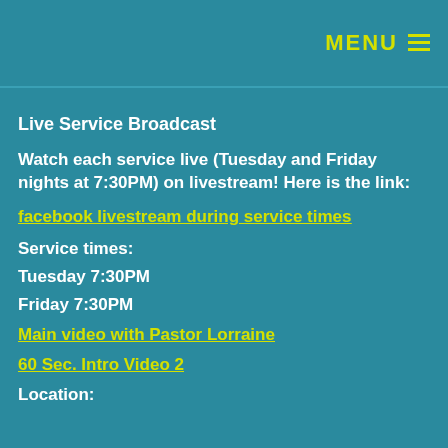MENU ≡
Live Service Broadcast
Watch each service live (Tuesday and Friday nights at 7:30PM) on livestream! Here is the link:
facebook livestream during service times
Service times:
Tuesday 7:30PM
Friday 7:30PM
Main video with Pastor Lorraine
60 Sec. Intro Video 2
Location: